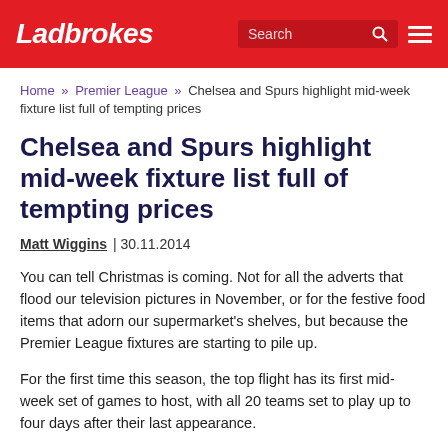Ladbrokes
Home » Premier League » Chelsea and Spurs highlight mid-week fixture list full of tempting prices
Chelsea and Spurs highlight mid-week fixture list full of tempting prices
Matt Wiggins | 30.11.2014
You can tell Christmas is coming. Not for all the adverts that flood our television pictures in November, or for the festive food items that adorn our supermarket's shelves, but because the Premier League fixtures are starting to pile up.
For the first time this season, the top flight has its first mid-week set of games to host, with all 20 teams set to play up to four days after their last appearance.
With a host of matches scheduled over the Christmas and New Year period, this is the perfect dress rehearsal for manager's to try out their